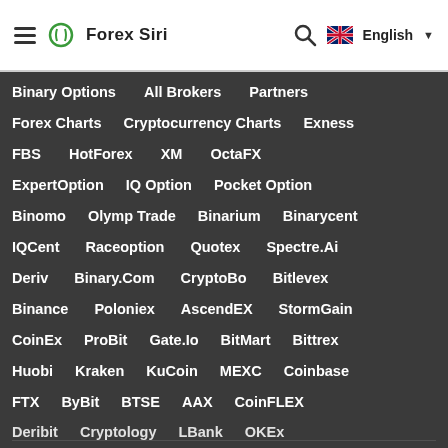Forex Siri — navigation header with hamburger menu, logo, search icon, English language selector
Binary Options
All Brokers
Partners
Forex Charts
Cryptocurrency Charts
Exness
FBS
HotForex
XM
OctaFX
ExpertOption
IQ Option
Pocket Option
Binomo
Olymp Trade
Binarium
Binarycent
IQCent
Raceoption
Quotex
Spectre.Ai
Deriv
Binary.Com
CryptoBo
Bitlevex
Binance
Poloniex
AscendEX
StormGain
CoinEx
ProBit
Gate.Io
BitMart
Bittrex
Huobi
Kraken
KuCoin
MEXC
Coinbase
FTX
ByBit
BTSE
AAX
CoinFLEX
Deribit
Cryptology
LBank
OKEx